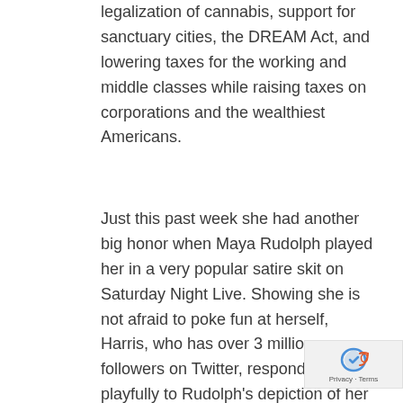legalization of cannabis, support for sanctuary cities, the DREAM Act, and lowering taxes for the working and middle classes while raising taxes on corporations and the wealthiest Americans.
Just this past week she had another big honor when Maya Rudolph played her in a very popular satire skit on Saturday Night Live. Showing she is not afraid to poke fun at herself, Harris, who has over 3 million followers on Twitter, responded playfully to Rudolph’s depiction of her as the coolest candidate in the race in a tweet saying, “That girl being played by